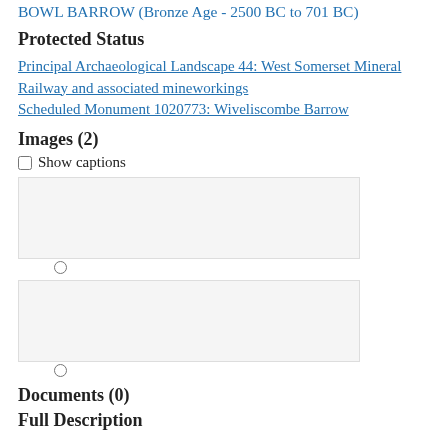BOWL BARROW (Bronze Age - 2500 BC to 701 BC)
Protected Status
Principal Archaeological Landscape 44: West Somerset Mineral Railway and associated mineworkings
Scheduled Monument 1020773: Wiveliscombe Barrow
Images (2)
Show captions
[Figure (photo): Image placeholder 1 with radio button]
[Figure (photo): Image placeholder 2 with radio button]
Documents (0)
Full Description